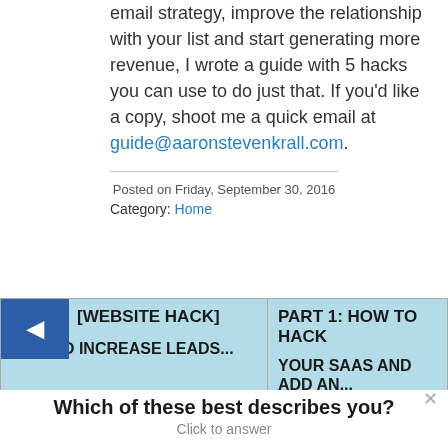email strategy, improve the relationship with your list and start generating more revenue, I wrote a guide with 5 hacks you can use to do just that. If you'd like a copy, shoot me a quick email at guide@aaronstevenkrall.com.
Posted on Friday, September 30, 2016
Category: Home
[WEBSITE HACK]
HOW TO INCREASE LEADS...
PART 1: HOW TO HACK
YOUR SAAS AND ADD AN...
Which of these best describes you?
Click to answer